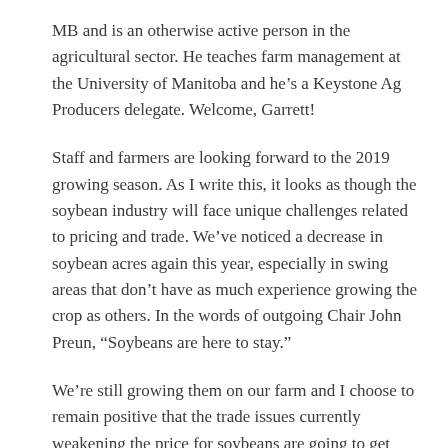MB and is an otherwise active person in the agricultural sector. He teaches farm management at the University of Manitoba and he’s a Keystone Ag Producers delegate. Welcome, Garrett!
Staff and farmers are looking forward to the 2019 growing season. As I write this, it looks as though the soybean industry will face unique challenges related to pricing and trade. We’ve noticed a decrease in soybean acres again this year, especially in swing areas that don’t have as much experience growing the crop as others. In the words of outgoing Chair John Preun, “Soybeans are here to stay.”
We’re still growing them on our farm and I choose to remain positive that the trade issues currently weakening the price for soybeans are going to get resolved or new markets will get discovered. Soy is still widely regarded as an excellent source of protein. And the world needs protein. I know Soy Canada is working hard to mend the situation.